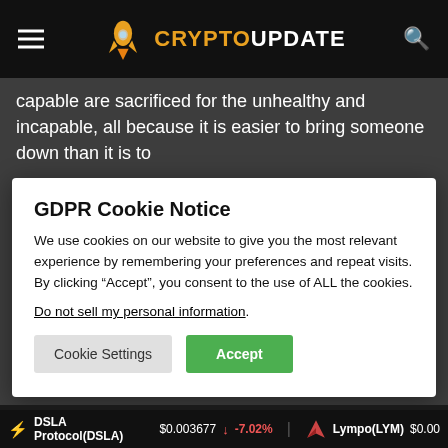CRYPTOUPDATE
capable are sacrificed for the unhealthy and incapable, all because it is easier to bring someone down than it is to
GDPR Cookie Notice
We use cookies on our website to give you the most relevant experience by remembering your preferences and repeat visits. By clicking “Accept”, you consent to the use of ALL the cookies.
Do not sell my personal information.
Cookie Settings  Accept
One need not do more than spend 10 minutes on Twitter to see what is happening … In the USSA, fact checkers wi blatantly lie to your face, tell you black is white and if you
DSLA Protocol(DSLA) $0.003677 ↓ -7.02%   Lympo(LYM) $0.00